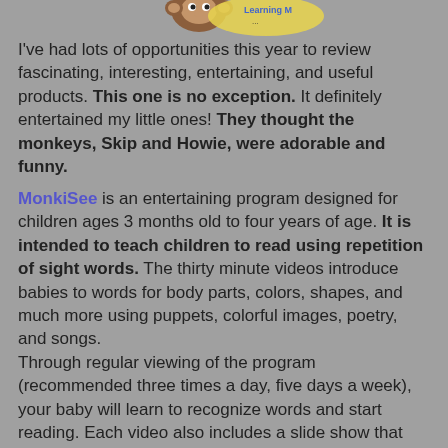[Figure (logo): Partial logo at top of page showing a monkey and 'Learning M...' text]
I've had lots of opportunities this year to review fascinating, interesting, entertaining, and useful products. This one is no exception. It definitely entertained my little ones! They thought the monkeys, Skip and Howie, were adorable and funny.
MonkiSee is an entertaining program designed for children ages 3 months old to four years of age. It is intended to teach children to read using repetition of sight words. The thirty minute videos introduce babies to words for body parts, colors, shapes, and much more using puppets, colorful images, poetry, and songs. Through regular viewing of the program (recommended three times a day, five days a week), your baby will learn to recognize words and start reading. Each video also includes a slide show that may be watched to reinforce the words that were taught. Satisfaction is guaranteed and a full refund promised if you are not completely satisfied.
The MonkiSee DVDs retail for $24.95, but are